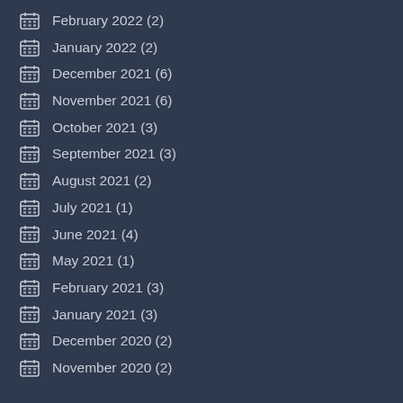February 2022 (2)
January 2022 (2)
December 2021 (6)
November 2021 (6)
October 2021 (3)
September 2021 (3)
August 2021 (2)
July 2021 (1)
June 2021 (4)
May 2021 (1)
February 2021 (3)
January 2021 (3)
December 2020 (2)
November 2020 (2)